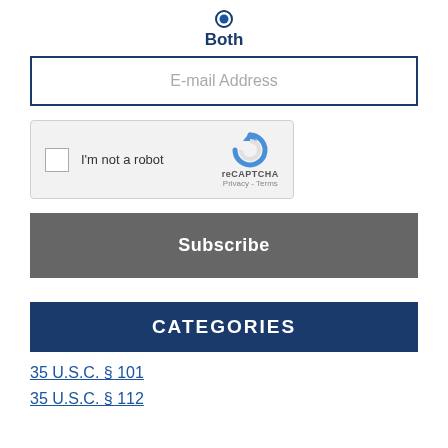[Figure (other): Radio button selected (filled blue circle) with label 'Both']
E-mail Address
[Figure (other): reCAPTCHA widget with checkbox 'I'm not a robot' and reCAPTCHA logo with Privacy - Terms text]
Subscribe
CATEGORIES
35 U.S.C. § 101
35 U.S.C. § 112